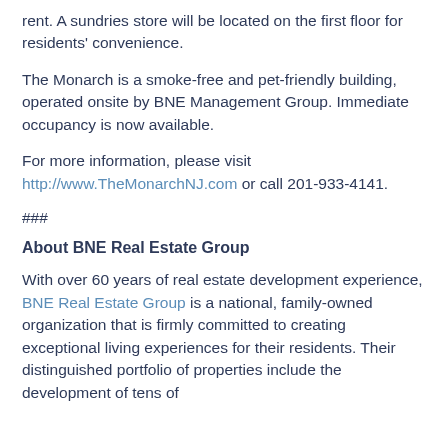rent. A sundries store will be located on the first floor for residents' convenience.
The Monarch is a smoke-free and pet-friendly building, operated onsite by BNE Management Group. Immediate occupancy is now available.
For more information, please visit http://www.TheMonarchNJ.com or call 201-933-4141.
###
About BNE Real Estate Group
With over 60 years of real estate development experience, BNE Real Estate Group is a national, family-owned organization that is firmly committed to creating exceptional living experiences for their residents. Their distinguished portfolio of properties include the development of tens of